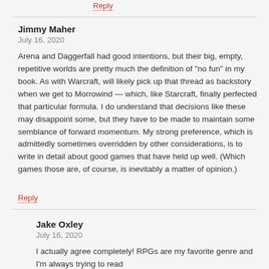Reply
Jimmy Maher
July 16, 2020
Arena and Daggerfall had good intentions, but their big, empty, repetitive worlds are pretty much the definition of "no fun" in my book. As with Warcraft, will likely pick up that thread as backstory when we get to Morrowind — which, like Starcraft, finally perfected that particular formula. I do understand that decisions like these may disappoint some, but they have to be made to maintain some semblance of forward momentum. My strong preference, which is admittedly sometimes overridden by other considerations, is to write in detail about good games that have held up well. (Which games those are, of course, is inevitably a matter of opinion.)
Reply
Jake Oxley
July 16, 2020
I actually agree completely! RPGs are my favorite genre and I'm always trying to read